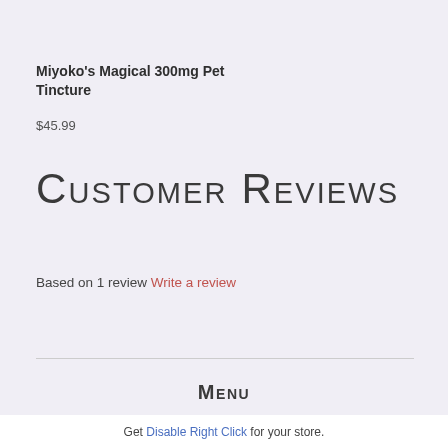Miyoko's Magical 300mg Pet Tincture
$45.99
Customer Reviews
Based on 1 review Write a review
Menu
Get Disable Right Click for your store.